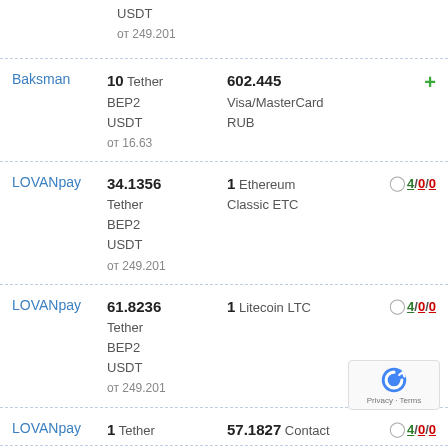| Exchange | Give | Receive | Reviews |
| --- | --- | --- | --- |
|  | USDT |  |  |
|  | от 249.201 |  |  |
| Baksman | 10 Tether BEP2 USDT
от 16.63 | 602.445 Visa/MasterCard RUB | + |
| LOVANpay | 34.1356 Tether BEP2 USDT
от 249.201 | 1 Ethereum Classic ETC | 4/0/0 |
| LOVANpay | 61.8236 Tether BEP2 USDT
от 249.201 | 1 Litecoin LTC | 4/0/0 |
| LOVANpay | 1 Tether | 57.1827 Contact | 4/0/0 |